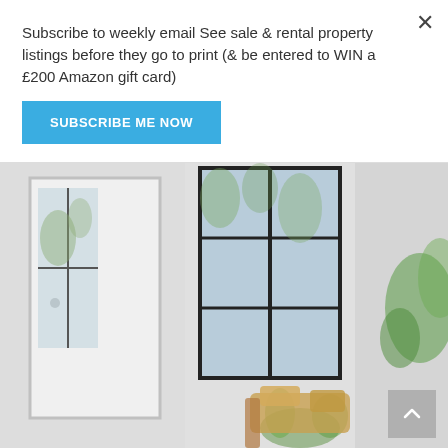Subscribe to weekly email See sale & rental property listings before they go to print (& be entered to WIN a £200 Amazon gift card)
SUBSCRIBE ME NOW
[Figure (photo): Interior room photo showing a bright white hallway/entrance with large black-framed windows, a white door with a handle, green plants, and a cushioned seat with warm-toned pillows.]